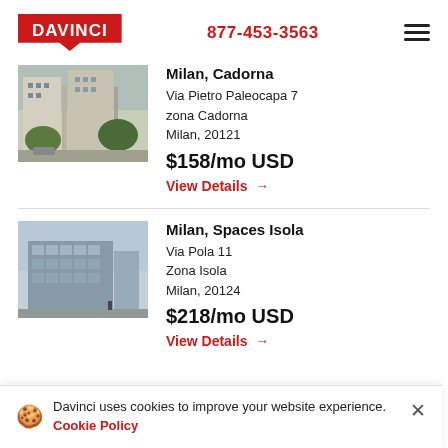DAVINCI   877-453-3563
[Figure (photo): Building photo for Milan, Cadorna listing - multi-story residential building with trees]
Milan, Cadorna
Via Pietro Paleocapa 7
zona Cadorna
Milan, 20121
$158/mo USD
View Details →
[Figure (photo): Building photo for Milan, Spaces Isola listing - modern glass building]
Milan, Spaces Isola
Via Pola 11
Zona Isola
Milan, 20124
$218/mo USD
View Details →
Davinci uses cookies to improve your website experience. Cookie Policy